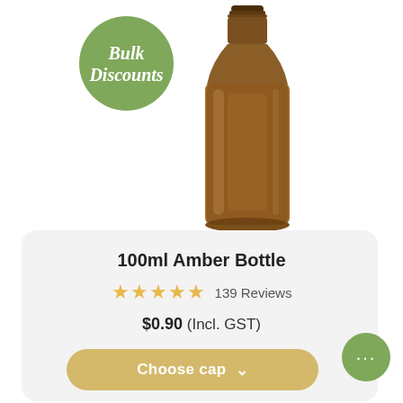[Figure (photo): Amber glass bottle (100ml) with screw cap neck, standing upright on white background. A green circular badge overlapping the bottle reads 'Bulk Discounts' in italic white text.]
100ml Amber Bottle
★★★★★ 139 Reviews
$0.90 (Incl. GST)
Choose cap